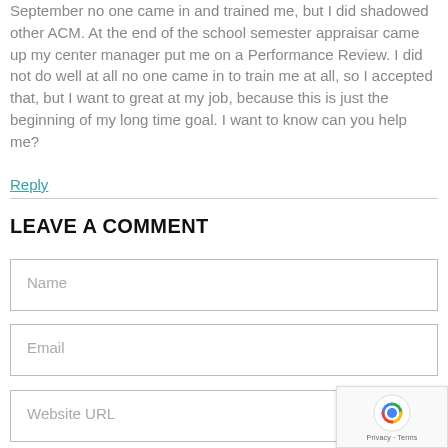September no one came in and trained me, but I did shadowed other ACM. At the end of the school semester appraisar came up my center manager put me on a Performance Review. I did not do well at all no one came in to train me at all, so I accepted that, but I want to great at my job, because this is just the beginning of my long time goal. I want to know can you help me?
Reply
LEAVE A COMMENT
Name
Email
Website URL